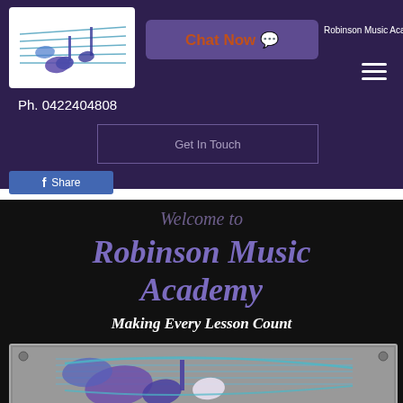[Figure (logo): Robinson Music Academy logo with musical notes and staff lines on white background]
Chat Now
Robinson Music Academy
Ph. 0422404808
Get In Touch
Share
Welcome to Robinson Music Academy
Making Every Lesson Count
[Figure (logo): Robinson Music Academy sign — large logo on grey metallic board with musical notes and staff lines in purple and teal]